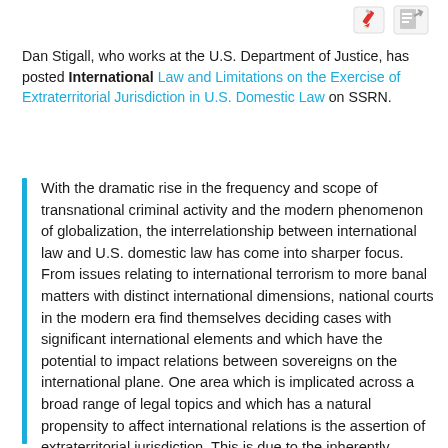[Figure (illustration): Two small icons in the top right corner: a red pencil/edit icon and a gray share/document icon]
Dan Stigall, who works at the U.S. Department of Justice, has posted International Law and Limitations on the Exercise of Extraterritorial Jurisdiction in U.S. Domestic Law on SSRN.
With the dramatic rise in the frequency and scope of transnational criminal activity and the modern phenomenon of globalization, the interrelationship between international law and U.S. domestic law has come into sharper focus. From issues relating to international terrorism to more banal matters with distinct international dimensions, national courts in the modern era find themselves deciding cases with significant international elements and which have the potential to impact relations between sovereigns on the international plane. One area which is implicated across a broad range of legal topics and which has a natural propensity to affect international relations is the assertion of extraterritorial jurisdiction. This is due to the inherently conflict-generative nature of extraterritoriality.